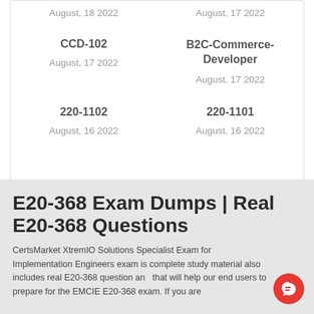August, 18 2022
August, 17 2022
CCD-102
August, 17 2022
B2C-Commerce-Developer
August, 17 2022
220-1102
August, 16 2022
220-1101
August, 16 2022
E20-368 Exam Dumps | Real E20-368 Questions
CertsMarket XtremIO Solutions Specialist Exam for Implementation Engineers exam is complete study material also includes real E20-368 question and answers that will help our end users to prepare for the EMCIE E20-368 exam. If you are